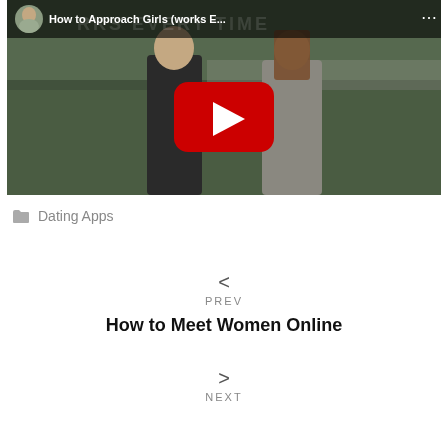[Figure (screenshot): YouTube video thumbnail showing two people outdoors with a red YouTube play button overlay. Title reads 'How to Approach Girls (works E...']
Dating Apps
< PREV
How to Meet Women Online
> NEXT